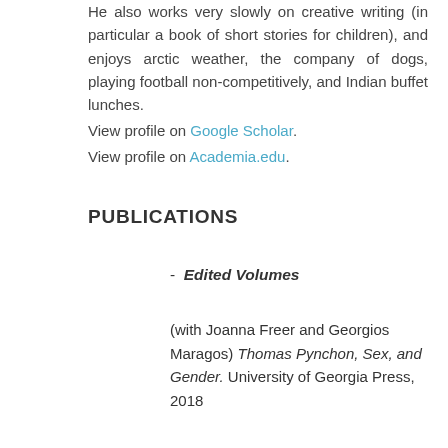He also works very slowly on creative writing (in particular a book of short stories for children), and enjoys arctic weather, the company of dogs, playing football non-competitively, and Indian buffet lunches.
View profile on Google Scholar.
View profile on Academia.edu.
PUBLICATIONS
-  Edited Volumes
(with Joanna Freer and Georgios Maragos) Thomas Pynchon, Sex, and Gender. University of Georgia Press, 2018